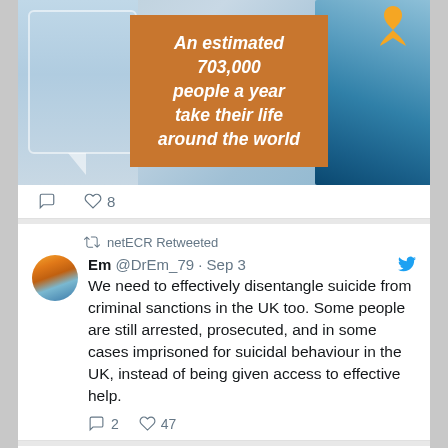[Figure (infographic): Social media post image showing text 'An estimated 703,000 people a year take their life around the world' on an orange background with a yellow ribbon and globe imagery]
8 likes
netECR Retweeted
Em @DrEm_79 · Sep 3
We need to effectively disentangle suicide from criminal sanctions in the UK too. Some people are still arrested, prosecuted, and in some cases imprisoned for suicidal behaviour in the UK, instead of being given access to effective help.
2 replies · 47 likes
netECR @netECR · Sep 4